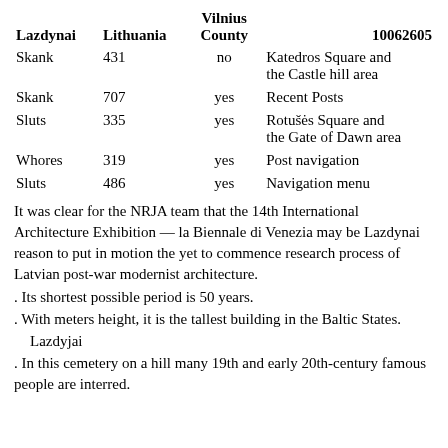| Lazdynai | Lithuania | Vilnius County | 10062605 |
| --- | --- | --- | --- |
| Skank | 431 | no | Katedros Square and the Castle hill area |
| Skank | 707 | yes | Recent Posts |
| Sluts | 335 | yes | Rotušės Square and the Gate of Dawn area |
| Whores | 319 | yes | Post navigation |
| Sluts | 486 | yes | Navigation menu |
It was clear for the NRJA team that the 14th International Architecture Exhibition — la Biennale di Venezia may be Lazdynai reason to put in motion the yet to commence research process of Latvian post-war modernist architecture.
. Its shortest possible period is 50 years.
. With meters height, it is the tallest building in the Baltic States.
Lazdyjai
. In this cemetery on a hill many 19th and early 20th-century famous people are interred.